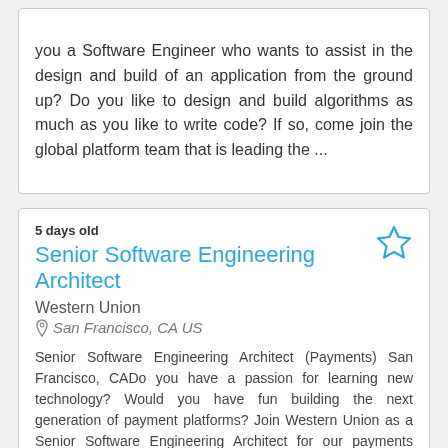you a Software Engineer who wants to assist in the design and build of an application from the ground up? Do you like to design and build algorithms as much as you like to write code? If so, come join the global platform team that is leading the ...
5 days old
Senior Software Engineering Architect
Western Union
San Francisco, CA US
Senior Software Engineering Architect (Payments) San Francisco, CADo you have a passion for learning new technology? Would you have fun building the next generation of payment platforms? Join Western Union as a Senior Software Engineering Architect for our payments platform?Motivated by our values:...
21 days old
Analyst 8, Software